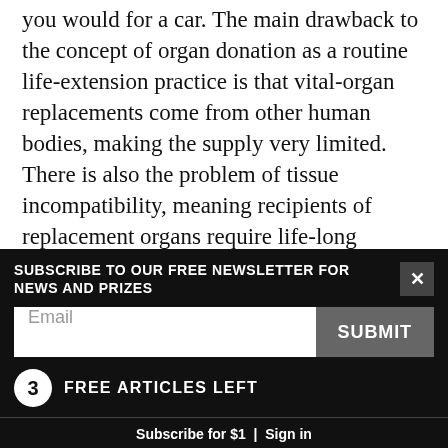you would for a car. The main drawback to the concept of organ donation as a routine life-extension practice is that vital-organ replacements come from other human bodies, making the supply very limited. There is also the problem of tissue incompatibility, meaning recipients of replacement organs require life-long immuno-suppression. Immune suppression commonly leads to a reduced life span.
Simpler body parts can be replaced more easily. Blood vessels, bone and membranous tissues can be grafted or surgically reconstructed from other parts of the
SUBSCRIBE TO OUR FREE NEWSLETTER FOR NEWS AND PRIZES
Email
SUBMIT
3 FREE ARTICLES LEFT
Subscribe for $1 | Sign in